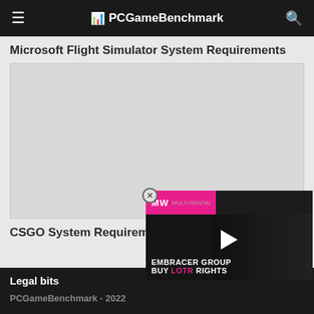PCGameBenchmark
Microsoft Flight Simulator System Requirements
[Figure (other): Advertisement placeholder box with light gray background]
CSGO System Requirements
[Figure (other): Video overlay advertisement for Embracer Group Buy LOTR Rights, with MW logo, dark background with a person's face visible, play button in center, pink and dark gradient header]
Legal bits
PCGameBenchmark - 2022